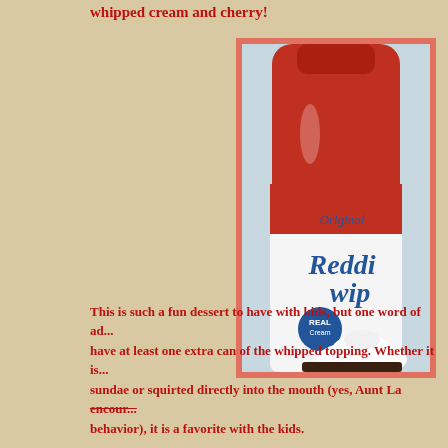whipped cream and cherry!
[Figure (photo): Photo of a Reddi Wip Original whipped cream aerosol can with red and white design, showing 'Real Cream' label, with whipped cream visible at the bottom]
This is such a fun dessert to have with kids, but one word of ad... have at least one extra can of the whipped topping. Whether it is... sundae or squirted directly into the mouth (yes, Aunt La encour... behavior), it is a favorite with the kids.